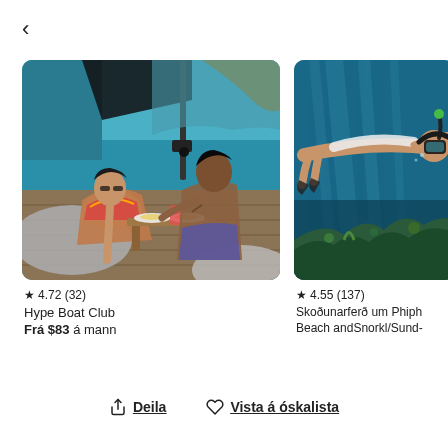<
[Figure (photo): Couple dining on a boat deck with turquoise blue water and a sailboat in the background. Woman in colorful swimwear leaning back laughing, man reaching across wooden table with food and drinks.]
★ 4.72 (32)
Hype Boat Club
Frá $83 á mann
[Figure (photo): Person snorkeling underwater in clear blue-green water with coral reef visible below. Wearing snorkel mask, viewed from the side underwater.]
★ 4.55 (137)
Skoðunarferð um Phiph Beach andSnorkl/Sund-
Deila
Vista á óskalista